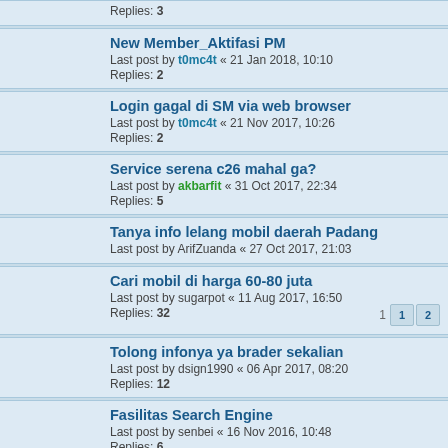Replies: 3
New Member_Aktifasi PM
Last post by t0mc4t « 21 Jan 2018, 10:10
Replies: 2
Login gagal di SM via web browser
Last post by t0mc4t « 21 Nov 2017, 10:26
Replies: 2
Service serena c26 mahal ga?
Last post by akbarfit « 31 Oct 2017, 22:34
Replies: 5
Tanya info lelang mobil daerah Padang
Last post by ArifZuanda « 27 Oct 2017, 21:03
Cari mobil di harga 60-80 juta
Last post by sugarpot « 11 Aug 2017, 16:50
Replies: 32
Tolong infonya ya brader sekalian
Last post by dsign1990 « 06 Apr 2017, 08:20
Replies: 12
Fasilitas Search Engine
Last post by senbei « 16 Nov 2016, 10:48
Replies: 6
tanya bikin signature?
Last post by 12valves « 18 Sep 2016, 18:23
Replies: 3
SerayaMotor itu artinya apa ya?
Last post by sintoni « 17 Aug 2016, 22:37
Replies: 30